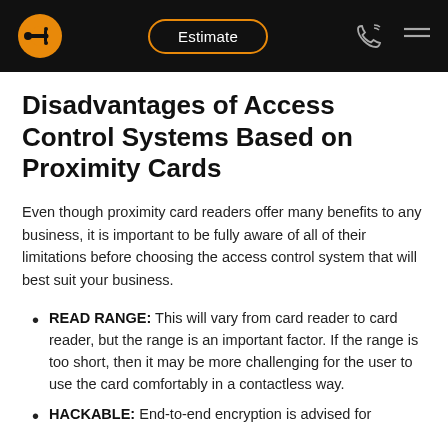Estimate
Disadvantages of Access Control Systems Based on Proximity Cards
Even though proximity card readers offer many benefits to any business, it is important to be fully aware of all of their limitations before choosing the access control system that will best suit your business.
READ RANGE: This will vary from card reader to card reader, but the range is an important factor. If the range is too short, then it may be more challenging for the user to use the card comfortably in a contactless way.
HACKABLE: End-to-end encryption is advised for